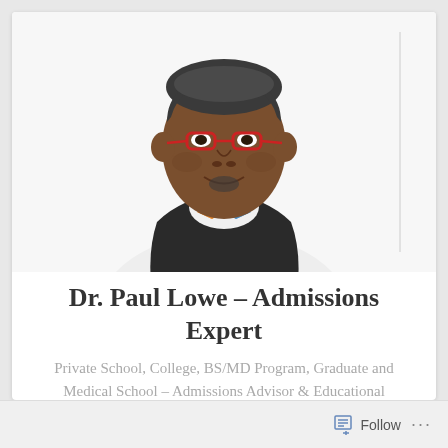[Figure (photo): Headshot of Dr. Paul Lowe, a man wearing red-framed glasses and a colorful bow tie, dressed in a dark vest over a white shirt, smiling against a white background.]
Dr. Paul Lowe – Admissions Expert
Private School, College, BS/MD Program, Graduate and Medical School – Admissions Advisor & Educational Consultant